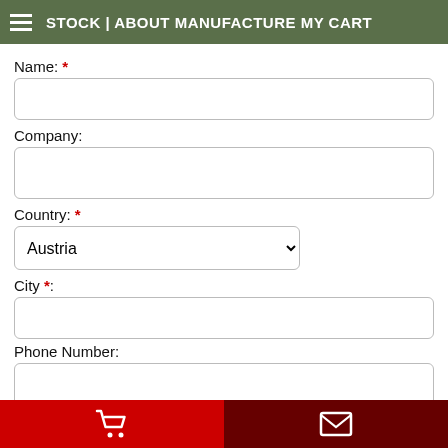STOCK | ABOUT MANUFACTURE MY CART
Name: *
Company:
Country: *
Austria (dropdown selected value)
City *:
Phone Number:
E-Mail: *
Cart icon | Envelope icon